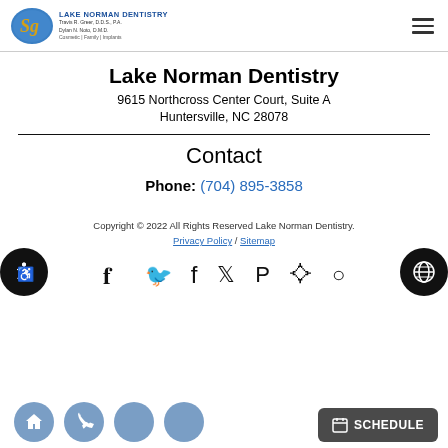[Figure (logo): Lake Norman Dentistry logo with blue oval containing stylized 'Sg' in gold, next to practice name and doctor names]
Lake Norman Dentistry
9615 Northcross Center Court, Suite A
Huntersville, NC 28078
Contact
Phone: (704) 895-3858
Copyright © 2022 All Rights Reserved Lake Norman Dentistry.
Privacy Policy / Sitemap
[Figure (other): Social media icons row: Facebook, Twitter, Pinterest, Yelp, Instagram]
[Figure (other): Bottom navigation bar with home icon circle, phone icon circle, and SCHEDULE button]